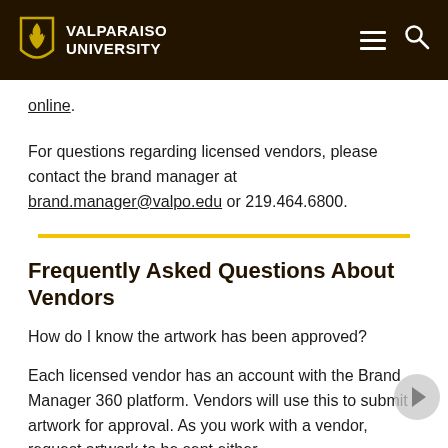VALPARAISO UNIVERSITY
online.
For questions regarding licensed vendors, please contact the brand manager at brand.manager@valpo.edu or 219.464.6800.
Frequently Asked Questions About Vendors
How do I know the artwork has been approved?
Each licensed vendor has an account with the Brand Manager 360 platform. Vendors will use this to submit artwork for approval. As you work with a vendor, request artwork to be sent either